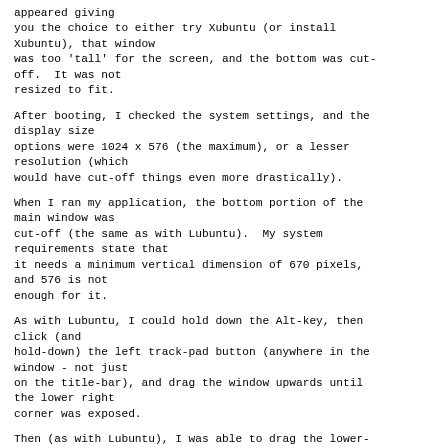appeared giving you the choice to either try Xubuntu (or install Xubuntu), that window was too 'tall' for the screen, and the bottom was cut-off.  It was not resized to fit.
After booting, I checked the system settings, and the display size options were 1024 x 576 (the maximum), or a lesser resolution (which would have cut-off things even more drastically).
When I ran my application, the bottom portion of the main window was cut-off (the same as with Lubuntu).  My system requirements state that it needs a minimum vertical dimension of 670 pixels, and 576 is not enough for it.
As with Lubuntu, I could hold down the Alt-key, then click (and hold-down) the left track-pad button (anywhere in the window - not just on the title-bar), and drag the window upwards until the lower right corner was exposed.
Then (as with Lubuntu), I was able to drag the lower-